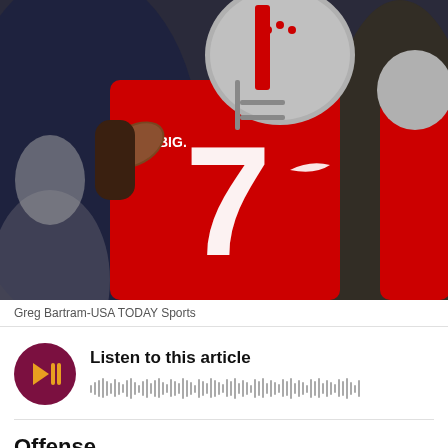[Figure (photo): Ohio State football player wearing number 7 red jersey and silver helmet with BIG logo, throwing a football. Photo by Greg Bartram-USA TODAY Sports.]
Greg Bartram-USA TODAY Sports
Listen to this article
Offense
Dwayne Haskins QB